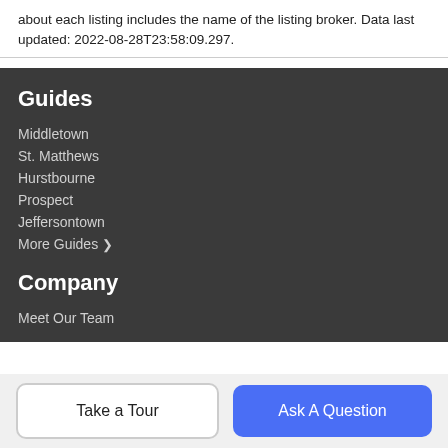about each listing includes the name of the listing broker. Data last updated: 2022-08-28T23:58:09.297.
Guides
Middletown
St. Matthews
Hurstbourne
Prospect
Jeffersontown
More Guides >
Company
Meet Our Team
Take a Tour
Ask A Question